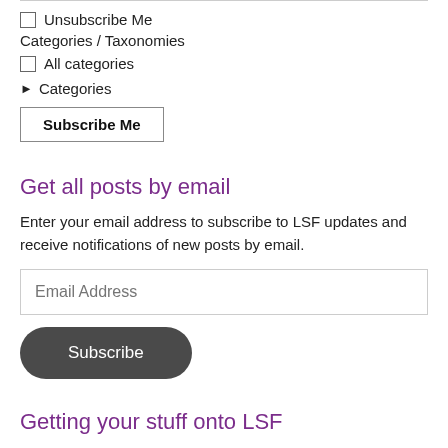Unsubscribe Me
Categories / Taxonomies
All categories
▶ Categories
Subscribe Me
Get all posts by email
Enter your email address to subscribe to LSF updates and receive notifications of new posts by email.
Email Address
Subscribe
Getting your stuff onto LSF